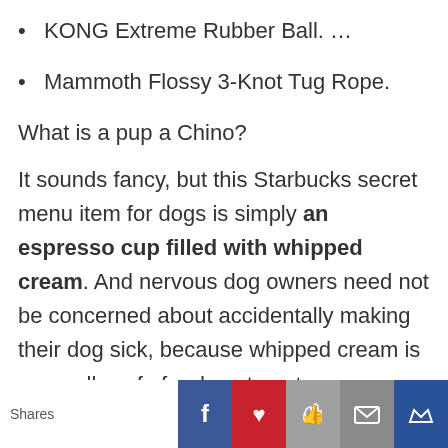KONG Extreme Rubber Ball. …
Mammoth Flossy 3-Knot Tug Rope.
What is a pup a Chino?
It sounds fancy, but this Starbucks secret menu item for dogs is simply an espresso cup filled with whipped cream. And nervous dog owners need not be concerned about accidentally making their dog sick, because whipped cream is generally safe for dogs to eat.
Shares [Facebook] [Pinterest] [Like] [Email] [Crown]